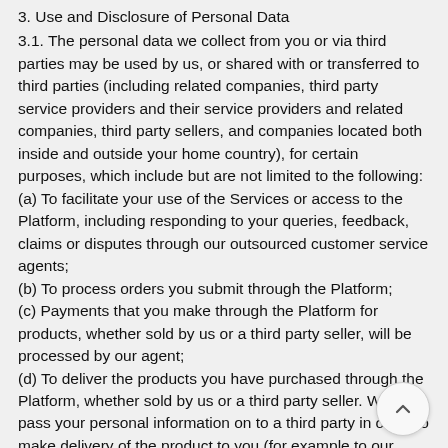3. Use and Disclosure of Personal Data
3.1. The personal data we collect from you or via third parties may be used by us, or shared with or transferred to third parties (including related companies, third party service providers and their service providers and related companies, third party sellers, and companies located both inside and outside your home country), for certain purposes, which include but are not limited to the following:
(a) To facilitate your use of the Services or access to the Platform, including responding to your queries, feedback, claims or disputes through our outsourced customer service agents;
(b) To process orders you submit through the Platform;
(c) Payments that you make through the Platform for products, whether sold by us or a third party seller, will be processed by our agent;
(d) To deliver the products you have purchased through the Platform, whether sold by us or a third party seller. We may pass your personal information on to a third party in order to make delivery of the product to you (for example to our courier or supplier), whether the product is sold through the Platform by or a third party seller;
(e) To update you on the delivery of the products, whether sold